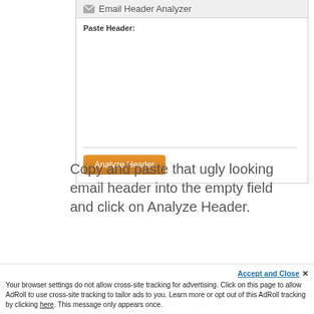[Figure (screenshot): Email Header Analyzer web widget with a 'Paste Header:' label, empty textarea input field, and an orange 'Analyze Header' button]
Copy and paste that ugly looking email header into the empty field and click on Analyze Header.
In the results, the email server with the longest bar graph is
Accept and Close ×
Your browser settings do not allow cross-site tracking for advertising. Click on this page to allow AdRoll to use cross-site tracking to tailor ads to you. Learn more or opt out of this AdRoll tracking by clicking here. This message only appears once.